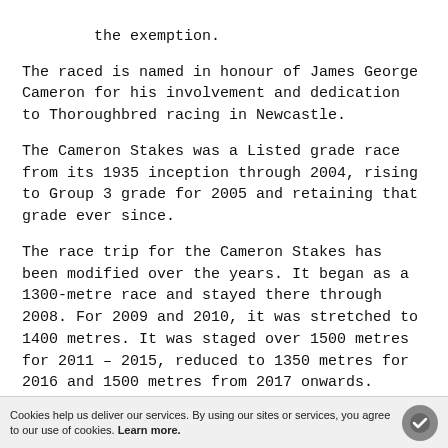…but we can only know that only Broadmeadow claimed the exemption.
The raced is named in honour of James George Cameron for his involvement and dedication to Thoroughbred racing in Newcastle.
The Cameron Stakes was a Listed grade race from its 1935 inception through 2004, rising to Group 3 grade for 2005 and retaining that grade ever since.
The race trip for the Cameron Stakes has been modified over the years. It began as a 1300-metre race and stayed there through 2008. For 2009 and 2010, it was stretched to 1400 metres. It was staged over 1500 metres for 2011 – 2015, reduced to 1350 metres for 2016 and 1500 metres from 2017 onwards.
Unlike many of the metro races in Sydney and Victoria, the Cameron Handicap has never been run anywhere except Broadmeadow Racecourse in the city of
Cookies help us deliver our services. By using our sites or services, you agree to our use of cookies. Learn more.